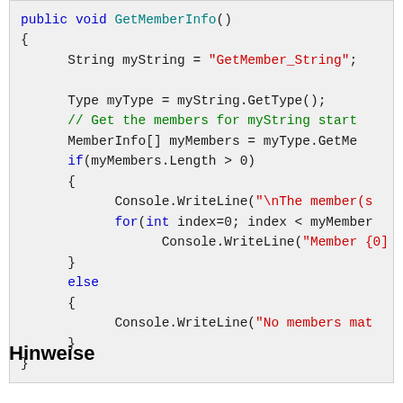[Figure (screenshot): Code snippet showing C# method GetMemberInfo() with syntax highlighting: keywords in blue/teal, strings in red, comments in green, control flow in blue.]
Hinweise